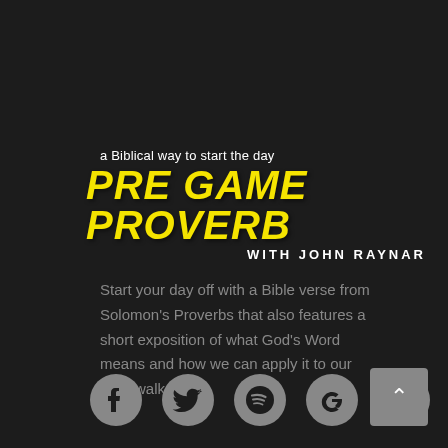a Biblical way to start the day
PRE GAME PROVERB
WITH JOHN RAYNAR
Start your day off with a Bible verse from Solomon's Proverbs that also features a short exposition of what God's Word means and how we can apply it to our daily walk.
[Figure (illustration): Row of social media icons: Facebook, Twitter, Spotify, Google, Apple — all in grey color]